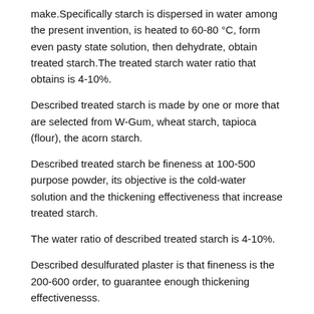make.Specifically starch is dispersed in water among the present invention, is heated to 60-80 °C, form even pasty state solution, then dehydrate, obtain treated starch.The treated starch water ratio that obtains is 4-10%.
Described treated starch is made by one or more that are selected from W-Gum, wheat starch, tapioca (flour), the acorn starch.
Described treated starch be fineness at 100-500 purpose powder, its objective is the cold-water solution and the thickening effectiveness that increase treated starch.
The water ratio of described treated starch is 4-10%.
Described desulfurated plaster is that fineness is the 200-600 order, to guarantee enough thickening effectivenesss.
Described macromolecular compound is selected from one or both in polyacrylamide, the polyvinyl alcohol.
Described swelling agent is selected from that Sodium dodecylbenzene sulfonate, sodium lauryl sulphate, dioctyl sodium sulfosuccinate, Sodium glycocholate,